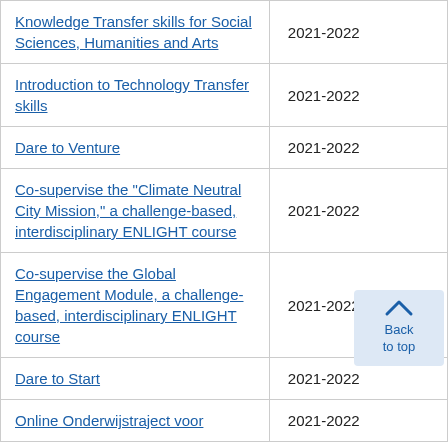| Course | Year |
| --- | --- |
| Knowledge Transfer skills for Social Sciences, Humanities and Arts | 2021-2022 |
| Introduction to Technology Transfer skills | 2021-2022 |
| Dare to Venture | 2021-2022 |
| Co-supervise the "Climate Neutral City Mission," a challenge-based, interdisciplinary ENLIGHT course | 2021-2022 |
| Co-supervise the Global Engagement Module, a challenge-based, interdisciplinary ENLIGHT course | 2021-2022 |
| Dare to Start | 2021-2022 |
| Online Onderwijstraject voor | 2021-2022 |